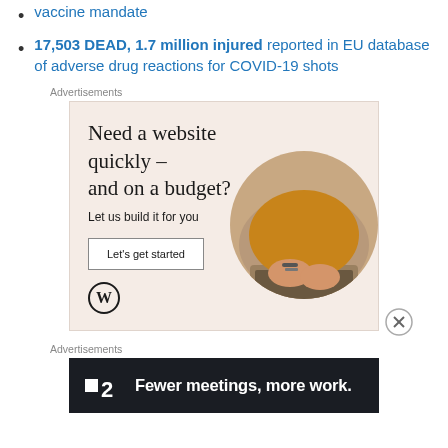vaccine mandate
17,503 DEAD, 1.7 million injured reported in EU database of adverse drug reactions for COVID-19 shots
Advertisements
[Figure (illustration): WordPress advertisement: 'Need a website quickly – and on a budget? Let us build it for you' with a 'Let's get started' button, WordPress logo, and a photo of hands typing on a laptop.]
Advertisements
[Figure (illustration): Fewer.com advertisement with dark background showing 'F2' logo and text 'Fewer meetings, more work.']